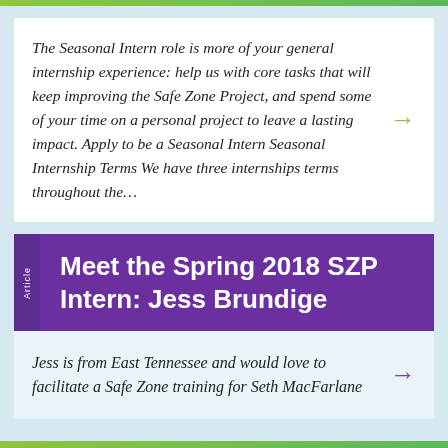The Seasonal Intern role is more of your general internship experience: help us with core tasks that will keep improving the Safe Zone Project, and spend some of your time on a personal project to leave a lasting impact. Apply to be a Seasonal Intern Seasonal Internship Terms We have three internships terms throughout the…
Meet the Spring 2018 SZP Intern: Jess Brundige
Jess is from East Tennessee and would love to facilitate a Safe Zone training for Seth MacFarlane